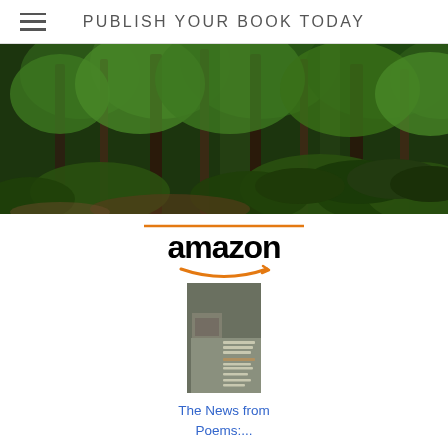PUBLISH YOUR BOOK TODAY
[Figure (photo): Lush green forest with tall trees, dense tropical foliage, large-leafed plants and dappled light]
[Figure (logo): Amazon logo with orange arrow underneath, flanked by orange horizontal line above]
[Figure (photo): Book cover for 'The News from Poems' - grey/tan toned cover]
The News from Poems:...